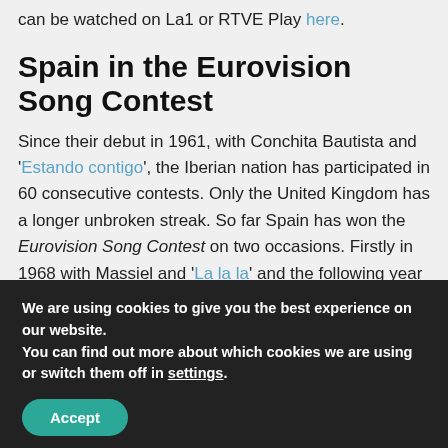can be watched on La1 or RTVE Play here.
Spain in the Eurovision Song Contest
Since their debut in 1961, with Conchita Bautista and 'Estando contigo', the Iberian nation has participated in 60 consecutive contests. Only the United Kingdom has a longer unbroken streak. So far Spain has won the Eurovision Song Contest on two occasions. Firstly in 1968 with Massiel and 'La la la' and the following year in the dramatic four-way tie, with Salomé and
We are using cookies to give you the best experience on our website.
You can find out more about which cookies we are using or switch them off in settings.
Accept